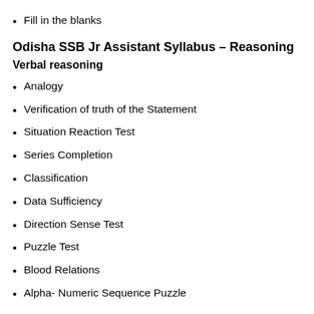Fill in the blanks
Odisha SSB Jr Assistant Syllabus – Reasoning
Verbal reasoning
Analogy
Verification of truth of the Statement
Situation Reaction Test
Series Completion
Classification
Data Sufficiency
Direction Sense Test
Puzzle Test
Blood Relations
Alpha- Numeric Sequence Puzzle